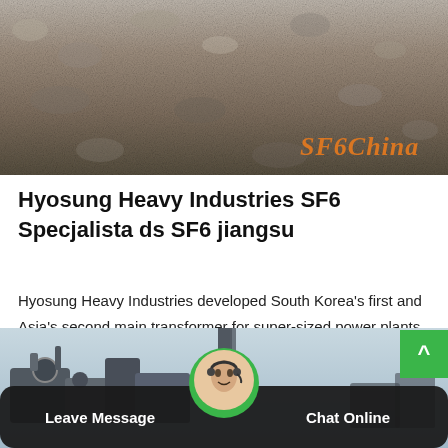[Figure (photo): Aerial or close-up photograph of gravel or aggregate material surface with 'SF6China' watermark in orange italic text at bottom right]
Hyosung Heavy Industries SF6 Specjalista ds SF6 jiangsu
Hyosung Heavy Industries developed South Korea's first and Asia's second main transformer for super-sized power plants, 345kV 3-phase 475,000kVA. Construction Sector. Hyosung Construction acquired license for electrical construction business (type 1)…
Get Price
[Figure (photo): Industrial machinery or equipment photograph, partially visible, with a scroll-to-top button (green with upward arrow) at right]
Leave Message   Chat Online